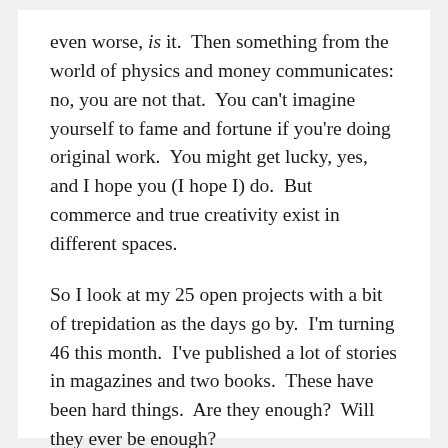even worse, is it.  Then something from the world of physics and money communicates: no, you are not that.  You can't imagine yourself to fame and fortune if you're doing original work.  You might get lucky, yes, and I hope you (I hope I) do.  But commerce and true creativity exist in different spaces.
So I look at my 25 open projects with a bit of trepidation as the days go by.  I'm turning 46 this month.  I've published a lot of stories in magazines and two books.  These have been hard things.  Are they enough?  Will they ever be enough?
Don't worry, I tell myself.  There's bigger process at work.  There must be.